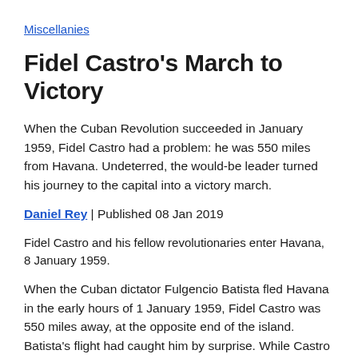Miscellanies
Fidel Castro's March to Victory
When the Cuban Revolution succeeded in January 1959, Fidel Castro had a problem: he was 550 miles from Havana. Undeterred, the would-be leader turned his journey to the capital into a victory march.
Daniel Rey | Published 08 Jan 2019
Fidel Castro and his fellow revolutionaries enter Havana, 8 January 1959.
When the Cuban dictator Fulgencio Batista fled Havana in the early hours of 1 January 1959, Fidel Castro was 550 miles away, at the opposite end of the island. Batista's flight had caught him by surprise. While Castro was stuck in the south-eastern hinterland, his rivals for power – the